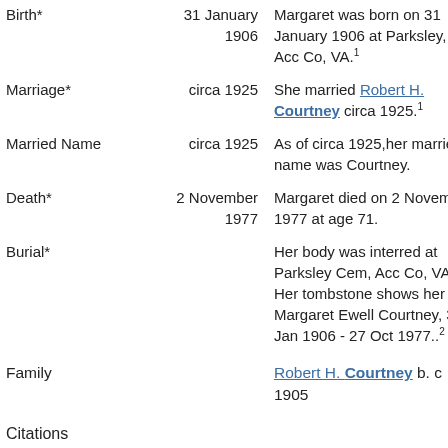| Event | Date | Description |
| --- | --- | --- |
| Birth* | 31 January 1906 | Margaret was born on 31 January 1906 at Parksley, Acc Co, VA.[1] |
| Marriage* | circa 1925 | She married Robert H. Courtney circa 1925.[1] |
| Married Name | circa 1925 | As of circa 1925,her married name was Courtney. |
| Death* | 2 November 1977 | Margaret died on 2 November 1977 at age 71. |
| Burial* |  | Her body was interred at Parksley Cem, Acc Co, VA. Her tombstone shows her as Margaret Ewell Courtney, 31 Jan 1906 - 27 Oct 1977..[2] |
| Family |  | Robert H. Courtney b. c 1905 |
| Citations |  |  |